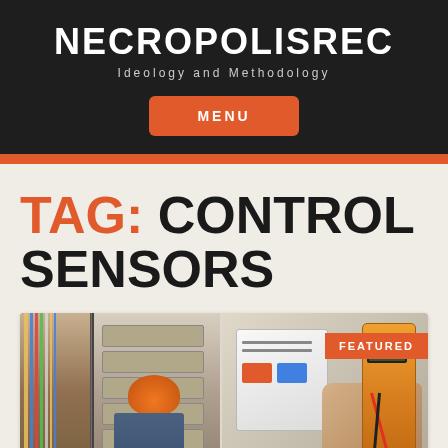NECROPOLISREC
Ideology and Methodology
MENU
TAG: CONTROL SENSORS
[Figure (photo): Two photos side by side: left shows an electrician in an orange hard hat working on an electrical panel with wiring; right shows a person holding a multimeter/testing device near electrical components. A red FEATURED badge is shown on the right image.]